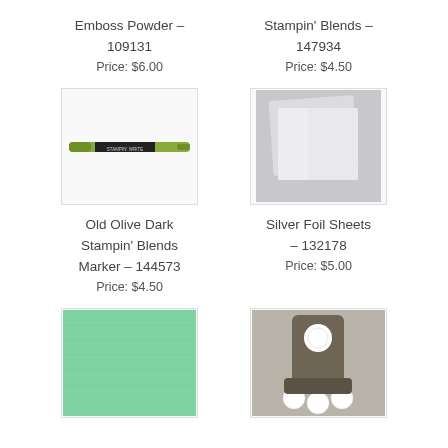Emboss Powder – 109131
Price: $6.00
Stampin' Blends – 147934
Price: $4.50
[Figure (photo): Old Olive Dark Stampin' Blends Marker – a green marker pen]
Old Olive Dark Stampin' Blends Marker – 144573
Price: $4.50
[Figure (photo): Silver Foil Sheets – sheets of silver foil paper]
Silver Foil Sheets – 132178
Price: $5.00
[Figure (photo): Mint green cardstock or paper sheet]
[Figure (photo): Paper punch tool with white circular punched pieces]